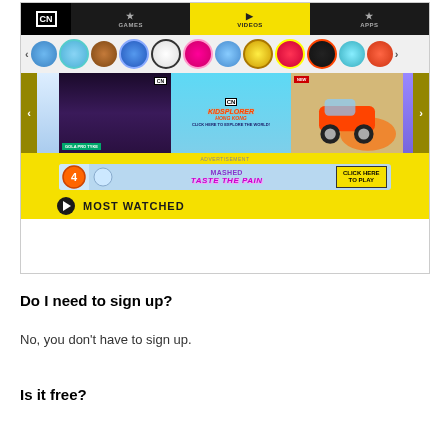[Figure (screenshot): Screenshot of the Cartoon Network website showing navigation bar with CN logo, GAMES, VIDEOS (active/highlighted in yellow), and APPS tabs. Below is a character icon carousel strip with various CN show characters. Content cards row shows a dark show card, CN Kidsplorer Hong Kong promotional card in teal, and a racing game card. An advertisement banner for a game 'Taste the Pain' with CLICK HERE TO PLAY button. At bottom, a MOST WATCHED section header on yellow background.]
Do I need to sign up?
No, you don't have to sign up.
Is it free?